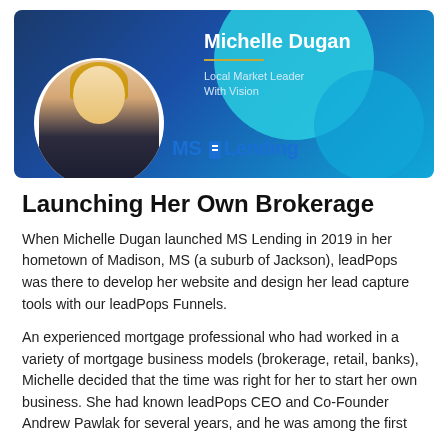[Figure (photo): Banner image for MS Lending featuring Michelle Dugan. Blue gradient background with teal circle decorations. Photo of a blonde woman in a dark blazer on the left. Text on right reads 'Michelle Dugan', 'Local Market Leader With Vision'. MS Lending logo bottom center-left.]
Launching Her Own Brokerage
When Michelle Dugan launched MS Lending in 2019 in her hometown of Madison, MS (a suburb of Jackson), leadPops was there to develop her website and design her lead capture tools with our leadPops Funnels.
An experienced mortgage professional who had worked in a variety of mortgage business models (brokerage, retail, banks), Michelle decided that the time was right for her to start her own business. She had known leadPops CEO and Co-Founder Andrew Pawlak for several years, and he was among the first